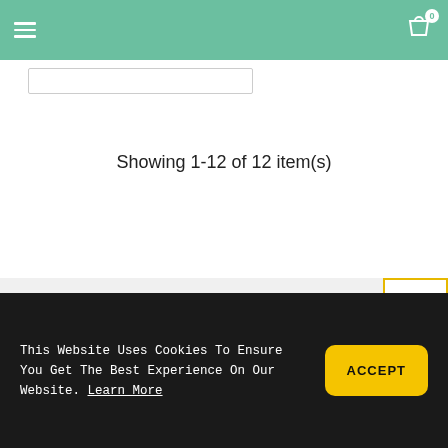Navigation bar with hamburger menu and shopping cart (0 items)
[Figure (screenshot): Search bar input field outline]
Showing 1-12 of 12 item(s)
[Figure (other): Scroll-to-top button with double up-chevron arrows in yellow border]
NEWSLETTER
[Figure (other): Envelope/mail icon for newsletter section]
Your email address
OK
This Website Uses Cookies To Ensure You Get The Best Experience On Our Website. Learn More